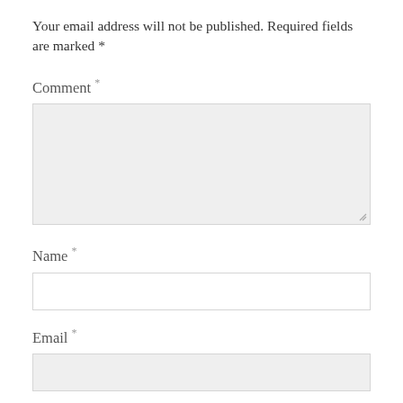Your email address will not be published. Required fields are marked *
Comment *
[Figure (other): Comment textarea input box with resize handle]
Name *
[Figure (other): Name text input box]
Email *
[Figure (other): Email text input box]
Website
[Figure (other): Website text input box (partial, cut off at bottom)]